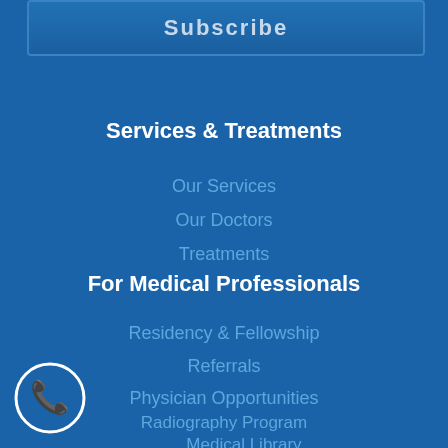[Figure (other): Subscribe button — partially visible blue button with 'Subscribe' text at top of page]
Services & Treatments
Our Services
Our Doctors
Treatments
For Medical Professionals
Residency & Fellowship
Referrals
Physician Opportunities
Radiography Program
Medical Library
Nursing Education
[Figure (illustration): White phone/call icon circle on blue background, bottom left corner]